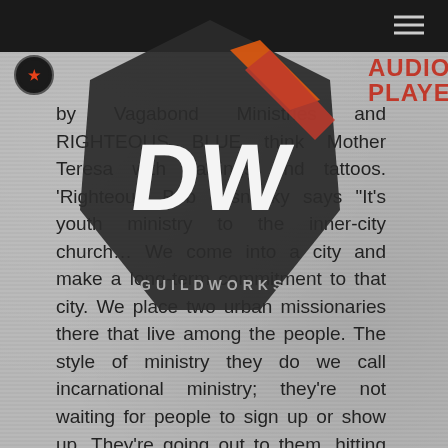[Figure (logo): Guildworks logo — a dark hexagonal badge with stylized white graffiti-style lettering and red/orange arrow shapes, plus a small circular emblem]
by Vagabond Ministries and RIGHTEOUS BLUE think Mother Teresa with earrings and tattoos. 'Righteous' Bob Lesnesky says 'It's youth ministry to the inner-city church... We come into a city and make a long-term commitment to that city. We place two urban missionaries there that live among the people. The style of ministry they do we call incarnational ministry; they're not waiting for people to sign up or show up. They're going out to them, hitting the streets, and really
AUDIO PLAYER